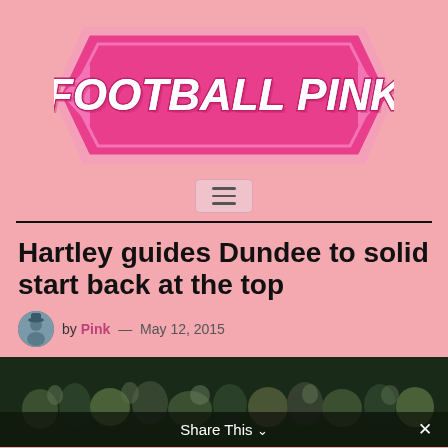[Figure (logo): Football Pink logo — pink double-headed arrow shape with bold white italic text 'FOOTBALL PINK' on a hot-pink background]
[Figure (other): Hamburger menu button (three horizontal lines) on a light pink rounded rectangle background]
Hartley guides Dundee to solid start back at the top
by Pink — May 12, 2015
[Figure (photo): Crowd of spectators at a football match, partially visible, dark/green tones]
Share This